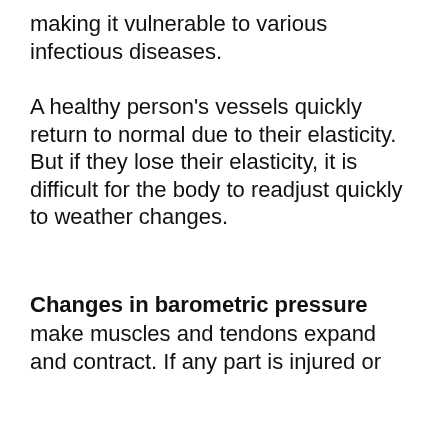making it vulnerable to various infectious diseases.
A healthy person's vessels quickly return to normal due to their elasticity. But if they lose their elasticity, it is difficult for the body to readjust quickly to weather changes.
Changes in barometric pressure
make muscles and tendons expand and contract. If any part is injured or